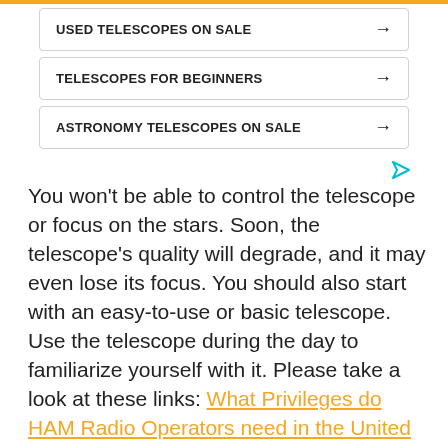[Figure (screenshot): Orange top navigation bar]
USED TELESCOPES ON SALE →
TELESCOPES FOR BEGINNERS →
ASTRONOMY TELESCOPES ON SALE →
You won't be able to control the telescope or focus on the stars. Soon, the telescope's quality will degrade, and it may even lose its focus. You should also start with an easy-to-use or basic telescope. Use the telescope during the day to familiarize yourself with it. Please take a look at these links: What Privileges do HAM Radio Operators need in the United States? And Learn all About